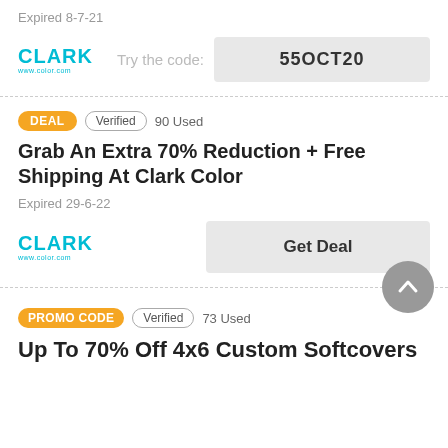Expired 8-7-21
Try the code:
55OCT20
DEAL   Verified   90 Used
Grab An Extra 70% Reduction + Free Shipping At Clark Color
Expired 29-6-22
Get Deal
PROMO CODE   Verified   73 Used
Up To 70% Off 4x6 Custom Softcovers